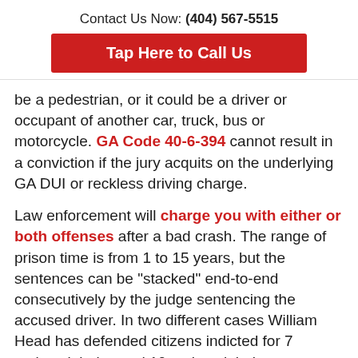Contact Us Now: (404) 567-5515
Tap Here to Call Us
be a pedestrian, or it could be a driver or occupant of another car, truck, bus or motorcycle. GA Code 40-6-394 cannot result in a conviction if the jury acquits on the underlying GA DUI or reckless driving charge.
Law enforcement will charge you with either or both offenses after a bad crash. The range of prison time is from 1 to 15 years, but the sentences can be “stacked” end-to-end consecutively by the judge sentencing the accused driver. In two different cases William Head has defended citizens indicted for 7 serious injuries and 10 serious injuries.